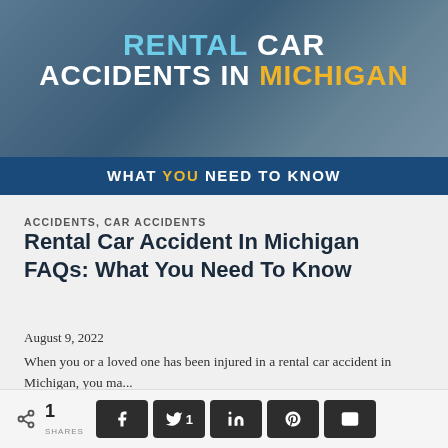[Figure (illustration): Hero banner image showing a person holding a phone, overlaid with text: RENTAL CAR ACCIDENTS IN MICHIGAN - WHAT YOU NEED TO KNOW]
ACCIDENTS, CAR ACCIDENTS
Rental Car Accident In Michigan FAQs: What You Need To Know
August 9, 2022
When you or a loved one has been injured in a rental car accident in Michigan, you ma...
1 SHARES | Facebook | Twitter 1 | LinkedIn | Pinterest | Email